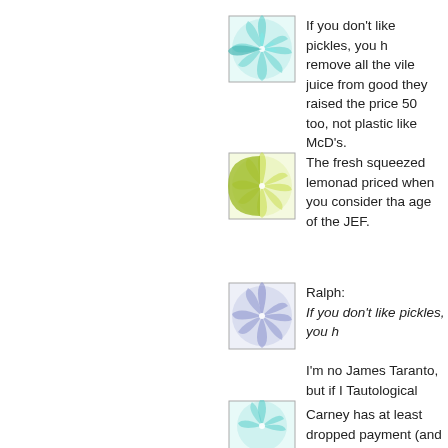[Figure (illustration): Teal/cyan decorative square tile with radiating leaf/petal pattern]
If you don't like pickles, you h remove all the vile juice from good they raised the price 50 too, not plastic like McD's.
[Figure (illustration): Yellow-green decorative square tile with radiating leaf/petal pattern]
The fresh squeezed lemonad priced when you consider tha age of the JEF.
[Figure (illustration): Blue/periwinkle decorative square tile with radiating leaf/petal pattern]
Ralph:
If you don't like pickles, you h
I'm no James Taranto, but if I Tautological
[Figure (illustration): Teal/cyan decorative square tile with radiating leaf/petal pattern (partial)]
Carney has at least dropped payment (and lucrative gigs h